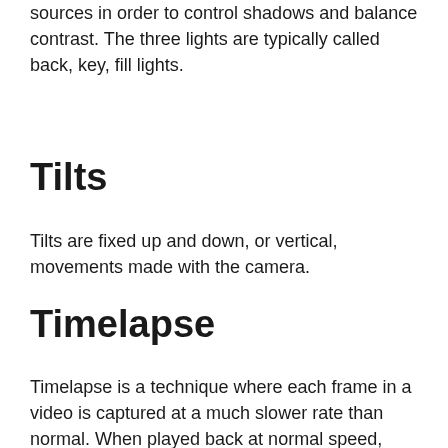sources in order to control shadows and balance contrast. The three lights are typically called back, key, fill lights.
Tilts
Tilts are fixed up and down, or vertical, movements made with the camera.
Timelapse
Timelapse is a technique where each frame in a video is captured at a much slower rate than normal. When played back at normal speed, time appears to go by faster. This can also be achieved by fast forwarding or increasing the